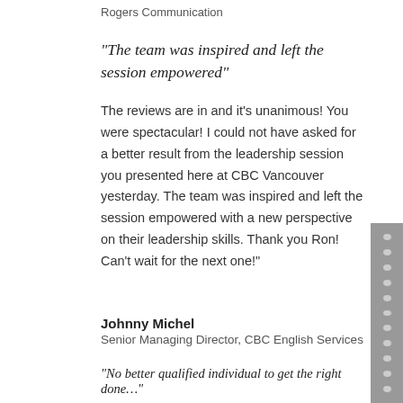Rogers Communication
“The team was inspired and left the session empowered”
The reviews are in and it’s unanimous! You were spectacular! I could not have asked for a better result from the leadership session you presented here at CBC Vancouver yesterday. The team was inspired and left the session empowered with a new perspective on their leadership skills. Thank you Ron! Can’t wait for the next one!”
Johnny Michel
Senior Managing Director, CBC English Services
“No better qualified individual to get the right done…”